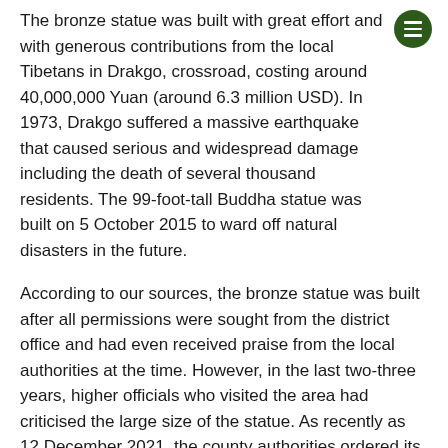The bronze statue was built with great effort and with generous contributions from the local Tibetans in Drakgo, crossroad, costing around 40,000,000 Yuan (around 6.3 million USD). In 1973, Drakgo suffered a massive earthquake that caused serious and widespread damage including the death of several thousand residents. The 99-foot-tall Buddha statue was built on 5 October 2015 to ward off natural disasters in the future.
According to our sources, the bronze statue was built after all permissions were sought from the district office and had even received praise from the local authorities at the time. However, in the last two-three years, higher officials who visited the area had criticised the large size of the statue. As recently as 12 December 2021, the county authorities ordered its demolition after invalidating the documents and claiming that the statue of such height is prohibited. Such a reason fails to justify the basis of destroying the 45 prayer wheels that cost around 1,800,000 Yuan (around 282,500 USD) to build, and the burning down of the prayer flags in the vicinity.